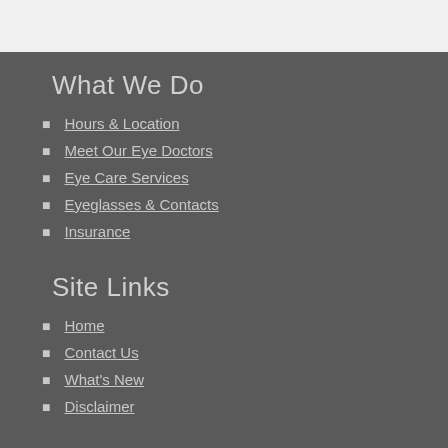What We Do
Hours & Location
Meet Our Eye Doctors
Eye Care Services
Eyeglasses & Contacts
Insurance
Site Links
Home
Contact Us
What's New
Disclaimer